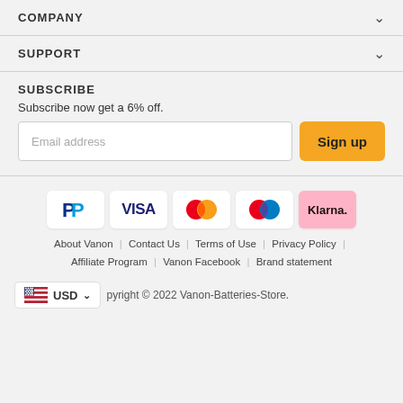COMPANY
SUPPORT
SUBSCRIBE
Subscribe now get a 6% off.
[Figure (screenshot): Email address input field with orange Sign up button]
[Figure (infographic): Payment method logos: PayPal, VISA, Mastercard, Maestro/Mastercard, Klarna]
About Vanon | Contact Us | Terms of Use | Privacy Policy | Affiliate Program | Vanon Facebook | Brand statement
Copyright © 2022 Vanon-Batteries-Store.